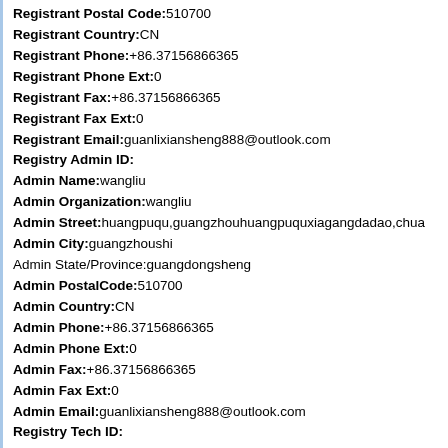Registrant Postal Code:510700
Registrant Country:CN
Registrant Phone:+86.37156866365
Registrant Phone Ext:0
Registrant Fax:+86.37156866365
Registrant Fax Ext:0
Registrant Email:guanlixiansheng888@outlook.com
Registry Admin ID:
Admin Name:wangliu
Admin Organization:wangliu
Admin Street:huangpuqu,guangzhouhuangpuquxiagangdadao,chua
Admin City:guangzhoushi
Admin State/Province:guangdongsheng
Admin PostalCode:510700
Admin Country:CN
Admin Phone:+86.37156866365
Admin Phone Ext:0
Admin Fax:+86.37156866365
Admin Fax Ext:0
Admin Email:guanlixiansheng888@outlook.com
Registry Tech ID:
Tech Name:wangliu
Tech Organization:wangliu
Tech Street:huangpuqu,guangzhouhuangpuquxiagangdadao,chuang
Tech City:guangzhoushi
Tech State/Province:guangdongsheng
Tech PostalCode:510700
Tech Country:CN